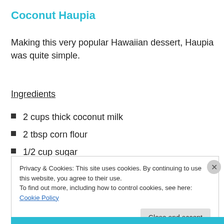Coconut Haupia
Making this very popular Hawaiian dessert, Haupia was quite simple.
Ingredients
2 cups thick coconut milk
2 tbsp corn flour
1/2 cup sugar
1/2 cup water
Privacy & Cookies: This site uses cookies. By continuing to use this website, you agree to their use.
To find out more, including how to control cookies, see here: Cookie Policy